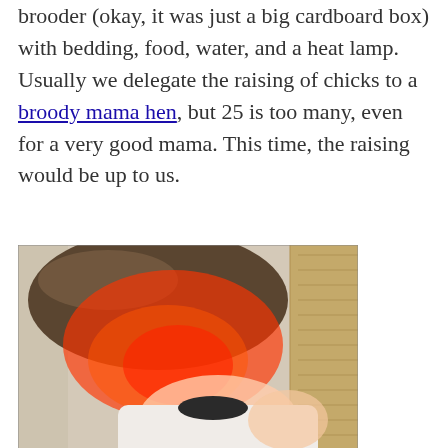brooder (okay, it was just a big cardboard box) with bedding, food, water, and a heat lamp. Usually we delegate the raising of chicks to a broody mama hen, but 25 is too many, even for a very good mama. This time, the raising would be up to us.
[Figure (photo): A child with brown hair illuminated by red/orange heat lamp light, bending over, seen from above. A wicker chair is visible in the background on the right.]